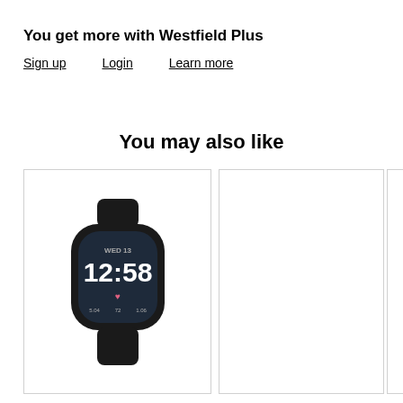You get more with Westfield Plus
Sign up   Login   Learn more
You may also like
[Figure (photo): Product card showing a dark Fitbit Versa 3 smartwatch displaying time 12:58 on its screen, with WED 13 date displayed, on white background]
[Figure (photo): Empty product card placeholder]
[Figure (photo): Partially visible product card placeholder]